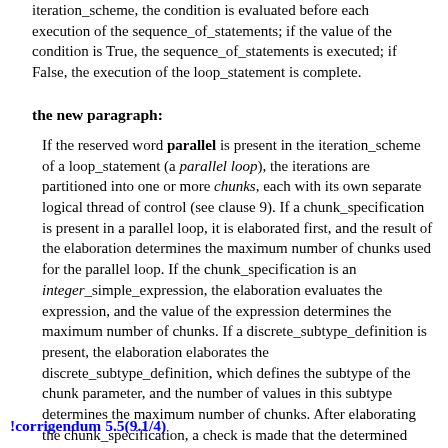iteration_scheme, the condition is evaluated before each execution of the sequence_of_statements; if the value of the condition is True, the sequence_of_statements is executed; if False, the execution of the loop_statement is complete.
the new paragraph:
If the reserved word parallel is present in the iteration_scheme of a loop_statement (a parallel loop), the iterations are partitioned into one or more chunks, each with its own separate logical thread of control (see clause 9). If a chunk_specification is present in a parallel loop, it is elaborated first, and the result of the elaboration determines the maximum number of chunks used for the parallel loop. If the chunk_specification is an integer_simple_expression, the elaboration evaluates the expression, and the value of the expression determines the maximum number of chunks. If a discrete_subtype_definition is present, the elaboration elaborates the discrete_subtype_definition, which defines the subtype of the chunk parameter, and the number of values in this subtype determines the maximum number of chunks. After elaborating the chunk_specification, a check is made that the determined maximum number of chunks is greater than zero. If this check fails, Program_Error is raised.
!corrigendum 5.5(9.1/4)